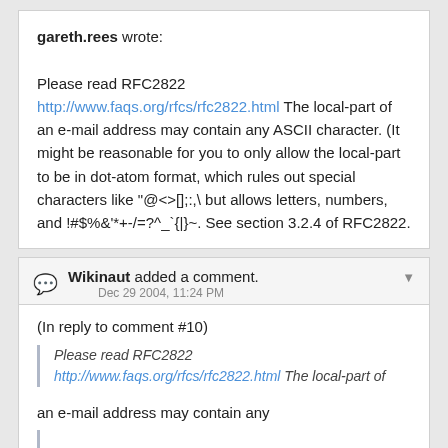gareth.rees wrote:

Please read RFC2822 http://www.faqs.org/rfcs/rfc2822.html The local-part of an e-mail address may contain any ASCII character. (It might be reasonable for you to only allow the local-part to be in dot-atom format, which rules out special characters like "@<>[];:,\ but allows letters, numbers, and !#$%&'*+-/=?^_`{|}~. See section 3.2.4 of RFC2822.
Wikinaut added a comment.
Dec 29 2004, 11:24 PM
(In reply to comment #10)
Please read RFC2822 http://www.faqs.org/rfcs/rfc2822.html The local-part of
an e-mail address may contain any